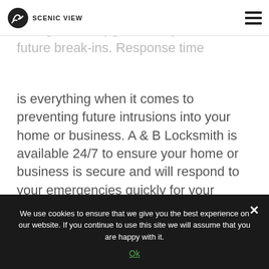SCENIC VIEW
windows, and other entry points changed and upgraded to prevent future break-ins. Response time is everything when it comes to preventing future intrusions into your home or business. A & B Locksmith is available 24/7 to ensure your home or business is secure and will respond to your emergencies quickly for your peace of mind.
We use cookies to ensure that we give you the best experience on our website. If you continue to use this site we will assume that you are happy with it.
Ok